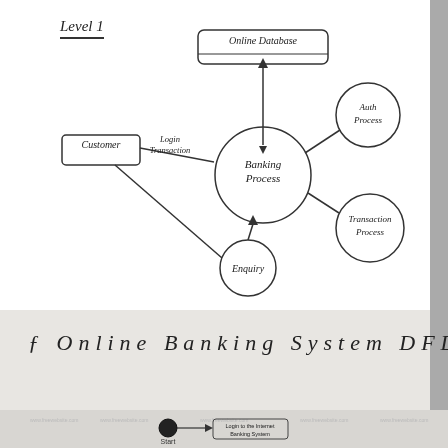Level 1
[Figure (flowchart): Level 1 DFD of Online Banking System. Central circle labeled 'Banking Process' connected to: rectangle 'Online Database' above (bidirectional arrow), rectangle 'Customer' on left (arrow labeled 'Login Transaction'), circle 'Auth Process' upper right (arrow), circle 'Transaction Process' lower right (arrow), circle 'Enquiry' below (arrow from Customer and to Banking Process).]
{ Online Banking System DFD
[Figure (flowchart): Footer flowchart showing a filled circle labeled 'Start' connected by arrow to a rectangle labeled 'Login to the Internet Banking System'.]